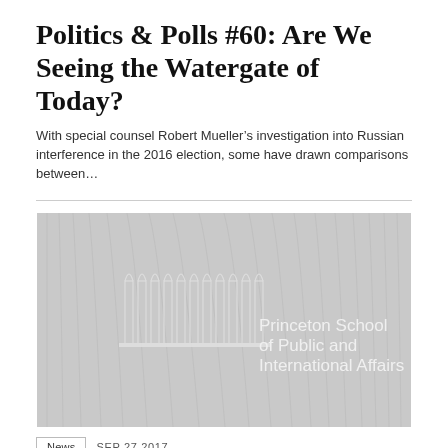Politics & Polls #60: Are We Seeing the Watergate of Today?
With special counsel Robert Mueller’s investigation into Russian interference in the 2016 election, some have drawn comparisons between…
[Figure (logo): Princeton School of Public and International Affairs logo on grey background with arched architectural graphic]
News   SEP 27 2017